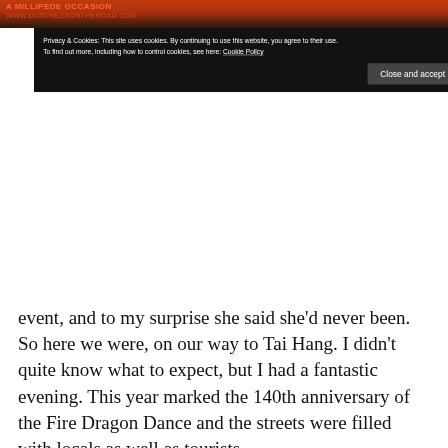[Figure (photo): Top strip of a webpage showing a dark orange/fire-colored background image with partial text and URL visible]
Privacy & Cookies: This site uses cookies. By continuing to use this website, you agree to their use.
To find out more, including how to control cookies, see here: Cookie Policy
Close and accept
event, and to my surprise she said she'd never been. So here we were, on our way to Tai Hang. I didn't quite know what to expect, but I had a fantastic evening. This year marked the 140th anniversary of the Fire Dragon Dance and the streets were filled with locals as well as tourists.
Hundreds of people work together on the performance, carrying a 67 metre long dragon through the streets of Tai Hang. The dragon is covered in burning incense sticks, filling the air with fragrant smoke and giving it the name “fire dragon”. As you might expect, it takes quite a few people to carry the dragon through the streets and even more people to organise the event. I felt very immersed in a culture completely different